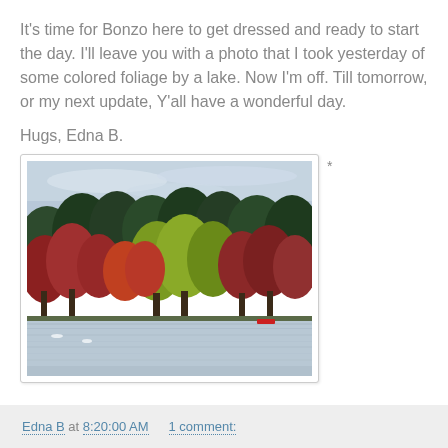It's time for Bonzo here to get dressed and ready to start the day. I'll leave you with a photo that I took yesterday of some colored foliage by a lake. Now I'm off. Till tomorrow, or my next update, Y'all have a wonderful day.
Hugs, Edna B.
[Figure (photo): Autumn foliage by a lake. Trees in shades of red, orange, yellow, and green line the shore, with calm water in the foreground and an overcast sky above.]
Edna B at 8:20:00 AM   1 comment: